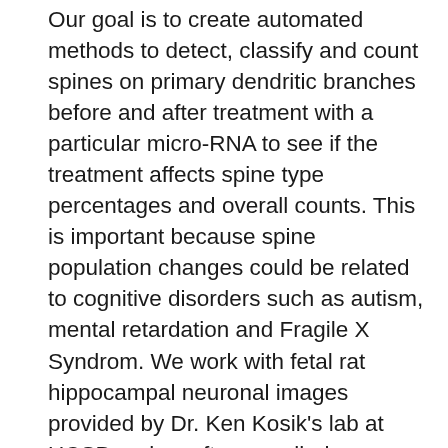Our goal is to create automated methods to detect, classify and count spines on primary dendritic branches before and after treatment with a particular micro-RNA to see if the treatment affects spine type percentages and overall counts. This is important because spine population changes could be related to cognitive disorders such as autism, mental retardation and Fragile X Syndrom. We work with fetal rat hippocampal neuronal images provided by Dr. Ken Kosik's lab at UCSB and a software called NeuronStudio. Using this software, Chris created an automated method of finding the volume of spines, and then analyzed the spine type classifications provided by NeuronStudio by comparing them to several other classification methods using features such as the shape context descriptor and elliptical Fourier descriptor. He used a cross-validation to classify spines into 3 categories using both linear discrimant analysis as well as a simple euclidean distance classification method and compared the performance of the 2 methods.